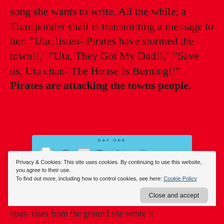song she wants to write. All the while; a Transponder snail is transmitting a message to her: “Uta, listen- Pirates have stormed the town!!” “Uta, They Got My Dad!!” “Save us, Uta chan- The House Is Burning!!” Pirates are attacking the towns people.
[Figure (other): Advertisement banner for Day One journaling app showing icons of a door, person, and notebook with text 'The only journaling app you’ll ever need.' on a light blue background]
Privacy & Cookies: This site uses cookies. By continuing to use this website, you agree to their use.
To find out more, including how to control cookies, see here: Cookie Policy
opas- rises from the ground she wrote it